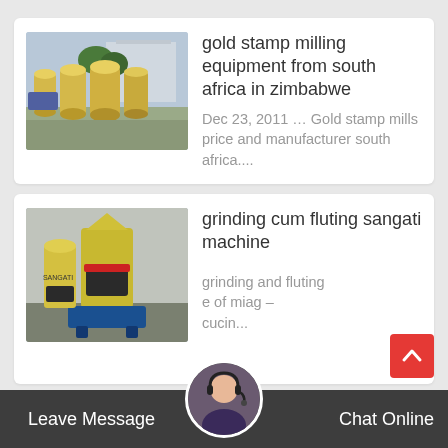[Figure (photo): Industrial gold stamp milling machines (yellow/beige cylindrical equipment) outdoors with building in background]
gold stamp milling equipment from south africa in zimbabwe
Dec 23, 2011 … Gold stamp mills price and manufacturer south africa....
[Figure (photo): Industrial grinding machine (yellow and black) on blue stand inside a factory/workshop]
grinding cum fluting sangati machine
grinding and fluting e of miag – cucin...
Leave Message
Chat Online